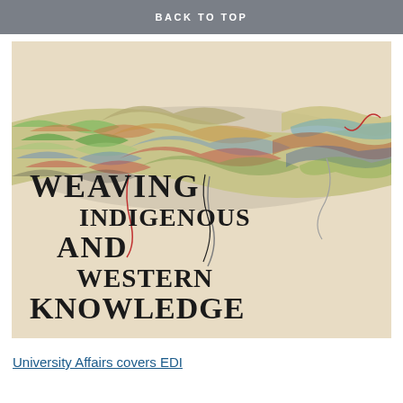BACK TO TOP
[Figure (photo): A colorful braided rope/braid made of many multicolored threads on a cream/beige background, with large serif bold text overlaid reading: WEAVING INDIGENOUS AND WESTERN KNOWLEDGE]
University Affairs covers EDI